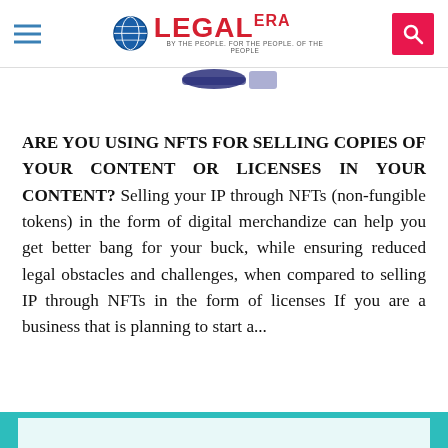LEGAL ERA — BY THE PEOPLE. FOR THE PEOPLE. OF THE PEOPLE
[Figure (logo): Partial circular logo/image at top center below header]
ARE YOU USING NFTS FOR SELLING COPIES OF YOUR CONTENT OR LICENSES IN YOUR CONTENT? Selling your IP through NFTs (non-fungible tokens) in the form of digital merchandize can help you get better bang for your buck, while ensuring reduced legal obstacles and challenges, when compared to selling IP through NFTs in the form of licenses If you are a business that is planning to start a...
[Figure (other): Teal/cyan banner strip at bottom of page]